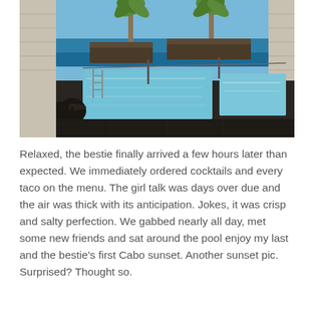[Figure (photo): A luxury resort pool area with an infinity pool overlooking the ocean. Palm trees are visible against a bright blue sky. Dark stone/tile surrounds the pool. A small table and chairs are visible on the left. Modern flat-roofed structures frame the scene.]
Relaxed, the bestie finally arrived a few hours later than expected. We immediately ordered cocktails and every taco on the menu. The girl talk was days over due and the air was thick with its anticipation. Jokes, it was crisp and salty perfection. We gabbed nearly all day, met some new friends and sat around the pool enjoy my last and the bestie's first Cabo sunset. Another sunset pic. Surprised? Thought so.